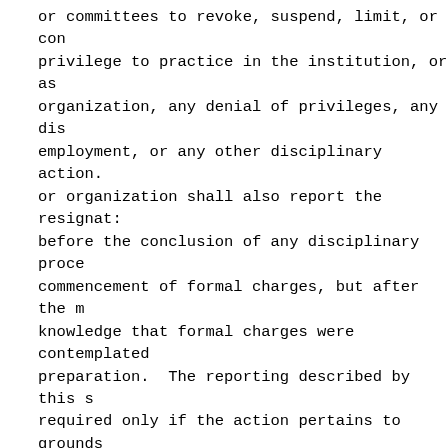or committees to revoke, suspend, limit, or condition a privilege to practice in the institution, or as an organization, any denial of privileges, any disciplinary employment, or any other disciplinary action. The institution or organization shall also report the resignation before the conclusion of any disciplinary proceeding, or commencement of formal charges, but after the member's knowledge that formal charges were contemplated or in preparation. The reporting described by this section is required only if the action pertains to grounds for action under section 148.261.
Subd. 3. Licensed professionals. A person licensed by a health-related licensing board as defined in section 214.01, subdivision 2, shall report to the board any knowledge of any conduct the person reasonably believes constitutes grounds for disciplinary action under sections 148.171 to 148.285 by any nurse including conduct indicating that the nurse may be incompetent, may have engaged in unprofessional or unethical conduct, or may be mentally or physically unable to engage safely in the practice of the professional, advanced practice registered, or